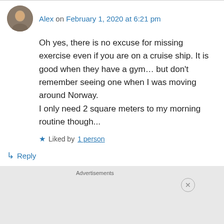Alex on February 1, 2020 at 6:21 pm
Oh yes, there is no excuse for missing exercise even if you are on a cruise ship. It is good when they have a gym… but don't remember seeing one when I was moving around Norway.
I only need 2 square meters to my morning routine though...
Liked by 1 person
Reply
Advertisements
[Figure (screenshot): DuckDuckGo advertisement banner with orange background showing phone and text: Search, browse, and email with more privacy. All in One Free App. DuckDuckGo.]